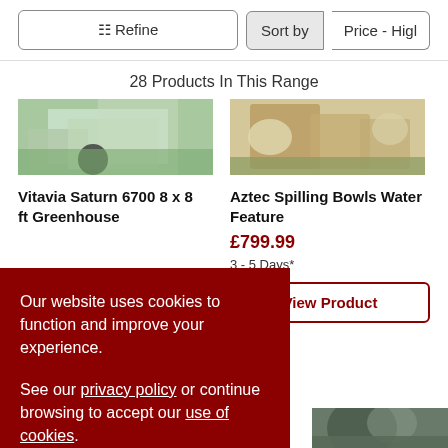≡ Refine
Sort by   Price - High
28 Products In This Range
[Figure (photo): Greenhouse building exterior with plants]
[Figure (photo): Wooden garden planter with rocks and plants]
Vitavia Saturn 6700 8 x 8 ft Greenhouse
Aztec Spilling Bowls Water Feature
799.99
3 - 5 Days*
View Product
Our website uses cookies to function and improve your experience.

See our privacy policy or continue browsing to accept our use of cookies.
Accept & Close
[Figure (photo): Stone garden water feature fountain]